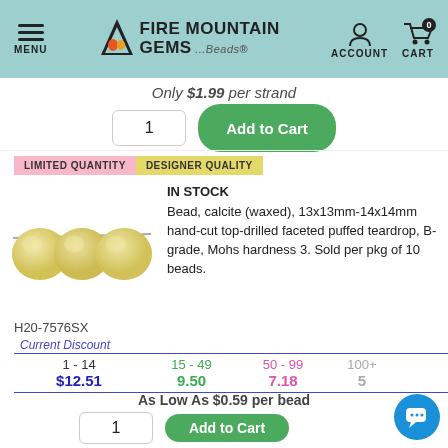Fire Mountain Gems and Beads – MENU | ACCOUNT | CART 0
Only $1.99 per strand
1  [Add to Cart]
LIMITED QUANTITY   DESIGNER QUALITY
IN STOCK
Bead, calcite (waxed), 13x13mm-14x14mm hand-cut top-drilled faceted puffed teardrop, B- grade, Mohs hardness 3. Sold per pkg of 10 beads.
[Figure (photo): Three pale yellow faceted puffed teardrop calcite beads on a wire]
H20-7576SX
| Current Discount | 15 - 49 | 50 - 99 | 100+ |
| --- | --- | --- | --- |
| 1 - 14 |  |  |  |
| $12.51 | 9.50 | 7.18 | 5... |
As Low As $0.59 per bead
1  [Add to Cart]